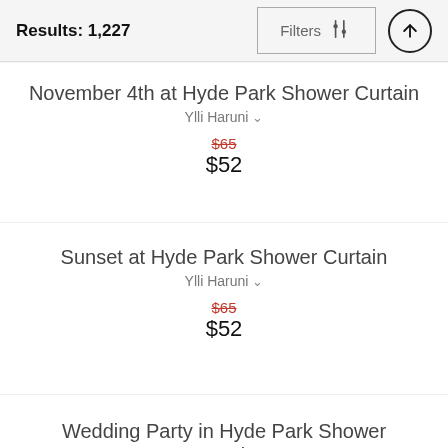Results: 1,227  Filters  ↑
November 4th at Hyde Park Shower Curtain
Ylli Haruni
$65  $52
Sunset at Hyde Park Shower Curtain
Ylli Haruni
$65  $52
Wedding Party in Hyde Park Shower Curtain